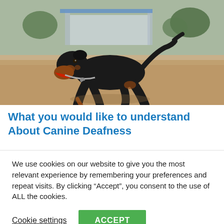[Figure (photo): A black and tan Rottweiler dog running on a sandy/dirt area with a gas station or building structure and trees visible in the blurred background.]
What you would like to understand About Canine Deafness
We use cookies on our website to give you the most relevant experience by remembering your preferences and repeat visits. By clicking “Accept”, you consent to the use of ALL the cookies.
Cookie settings  ACCEPT